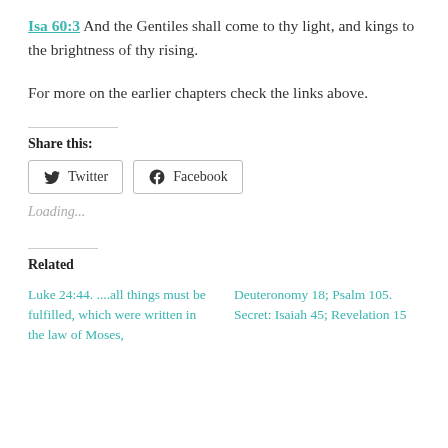Isa 60:3  And the Gentiles shall come to thy light, and kings to the brightness of thy rising.
For more on the earlier chapters check the links above.
Share this:
[Figure (other): Twitter and Facebook share buttons]
Loading...
Related
Luke 24:44. ....all things must be fulfilled, which were written in the law of Moses,
Deuteronomy 18; Psalm 105. Secret: Isaiah 45; Revelation 15